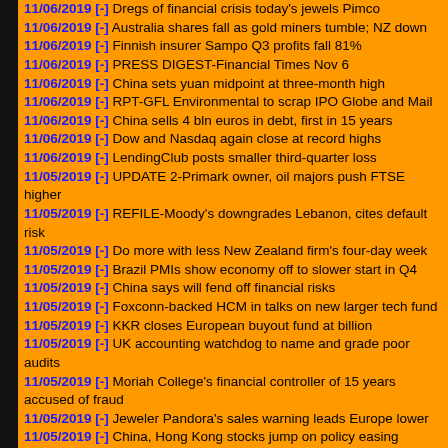11/06/2019 [-] Dregs of financial crisis today's jewels Pimco
11/06/2019 [-] Australia shares fall as gold miners tumble; NZ down
11/06/2019 [-] Finnish insurer Sampo Q3 profits fall 81%
11/06/2019 [-] PRESS DIGEST-Financial Times Nov 6
11/06/2019 [-] China sets yuan midpoint at three-month high
11/06/2019 [-] RPT-GFL Environmental to scrap IPO Globe and Mail
11/06/2019 [-] China sells 4 bln euros in debt, first in 15 years
11/06/2019 [-] Dow and Nasdaq again close at record highs
11/06/2019 [-] LendingClub posts smaller third-quarter loss
11/05/2019 [-] UPDATE 2-Primark owner, oil majors push FTSE higher
11/05/2019 [-] REFILE-Moody's downgrades Lebanon, cites default risk
11/05/2019 [-] Do more with less New Zealand firm's four-day week
11/05/2019 [-] Brazil PMIs show economy off to slower start in Q4
11/05/2019 [-] China says will fend off financial risks
11/05/2019 [-] Foxconn-backed HCM in talks on new larger tech fund
11/05/2019 [-] KKR closes European buyout fund at billion
11/05/2019 [-] UK accounting watchdog to name and grade poor audits
11/05/2019 [-] Moriah College's financial controller of 15 years accused of fraud
11/05/2019 [-] Jeweler Pandora's sales warning leads Europe lower
11/05/2019 [-] China, Hong Kong stocks jump on policy easing
11/05/2019 [-] Australia govt maintains RBA's 2-3% inflation target
11/05/2019 [-] Magnitude 6.3 quake hits near Coquimbo, Chile EMSC
11/05/2019 [-] Singapore lender OCBC reports 6% drop in Q3 profit